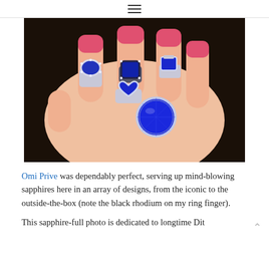≡
[Figure (photo): A hand with pink-painted nails wearing multiple sapphire and diamond rings in various designs: oval, cushion, heart, square, and round cuts, all with silver/white gold settings and blue sapphire gemstones.]
Omi Prive was dependably perfect, serving up mind-blowing sapphires here in an array of designs, from the iconic to the outside-the-box (note the black rhodium on my ring finger).
This sapphire-full photo is dedicated to longtime Dit